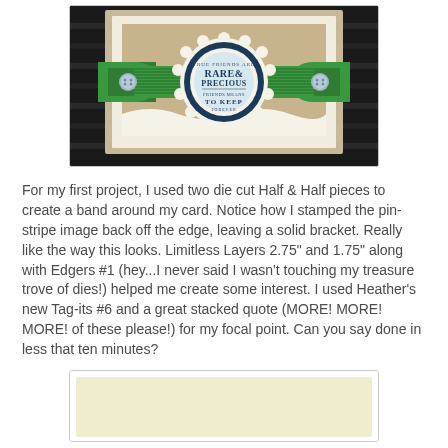[Figure (photo): A handmade greeting card with a green corrugated band/wrap around it. The band has bracket-shaped tabs on each side with small buttons. In the center is a circular layered medallion with blue and white layers, stamped with text: 'True Friends Are RARE & PRECIOUS To Keep Forever'. Card background is tan/kraft textured paper over cream/white.]
For my first project, I used two die cut Half & Half pieces to create a band around my card. Notice how I stamped the pin-stripe image back off the edge, leaving a solid bracket. Really like the way this looks. Limitless Layers 2.75" and 1.75" along with Edgers #1 (hey...I never said I wasn't touching my treasure trove of dies!) helped me create some interest. I used Heather's new Tag-its #6 and a great stacked quote (MORE! MORE! MORE! of these please!) for my focal point. Can you say done in less that ten minutes?
[Figure (photo): Partial view of a second handmade card project, showing a cream/pale yellow card base, partially visible at the bottom of the page.]